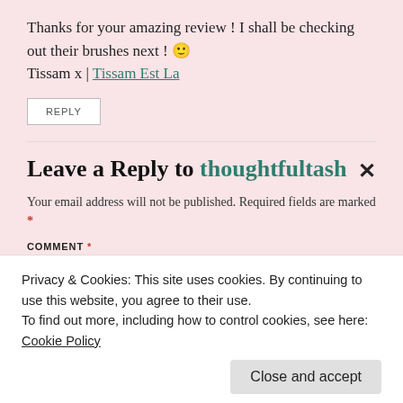Thanks for your amazing review ! I shall be checking out their brushes next ! 😊 Tissam x | Tissam Est La
REPLY
Leave a Reply to thoughtfultash ×
Your email address will not be published. Required fields are marked *
COMMENT *
Privacy & Cookies: This site uses cookies. By continuing to use this website, you agree to their use.
To find out more, including how to control cookies, see here:
Cookie Policy
Close and accept